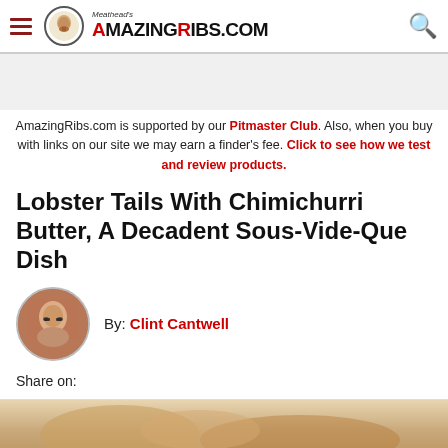Meathead's AmazingRibs.com
AmazingRibs.com is supported by our Pitmaster Club. Also, when you buy with links on our site we may earn a finder's fee. Click to see how we test and review products.
Lobster Tails With Chimichurri Butter, A Decadent Sous-Vide-Que Dish
By: Clint Cantwell
Share on:
[Figure (photo): Partial view of lobster tails dish at the bottom of the page]